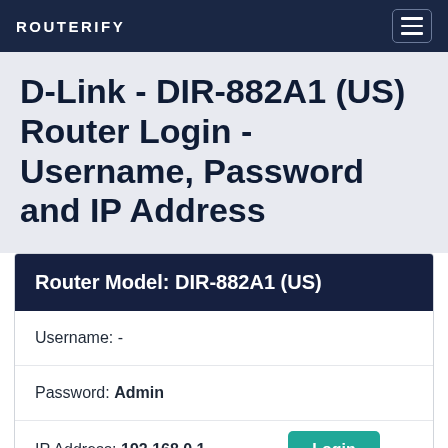ROUTERIFY
D-Link - DIR-882A1 (US) Router Login - Username, Password and IP Address
| Field | Value |
| --- | --- |
| Username: | - |
| Password: | Admin |
| IP Address: | 192.168.0.1 |